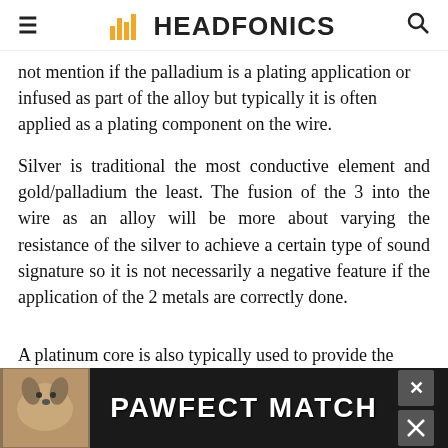≡  HF HEADFONICS  🔍
not mention if the palladium is a plating application or infused as part of the alloy but typically it is often applied as a plating component on the wire.
Silver is traditional the most conductive element and gold/palladium the least. The fusion of the 3 into the wire as an alloy will be more about varying the resistance of the silver to achieve a certain type of sound signature so it is not necessarily a negative feature if the application of the 2 metals are correctly done.
A platinum core is also typically used to provide the wi... ...es stance wi... ...er duce
[Figure (other): Advertisement banner: Dog image on left, text 'PAWFECT MATCH' in white on dark background, close buttons (X) on right side]